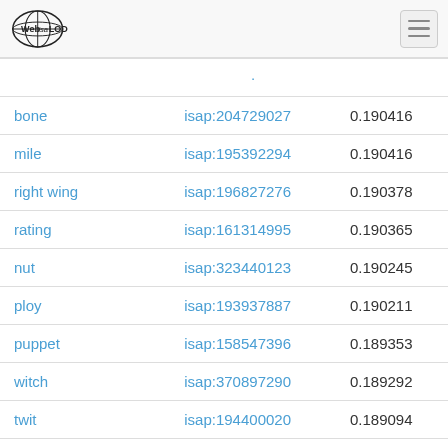Web isa LOD
| bone | isap:204729027 | 0.190416 |
| mile | isap:195392294 | 0.190416 |
| right wing | isap:196827276 | 0.190378 |
| rating | isap:161314995 | 0.190365 |
| nut | isap:323440123 | 0.190245 |
| ploy | isap:193937887 | 0.190211 |
| puppet | isap:158547396 | 0.189353 |
| witch | isap:370897290 | 0.189292 |
| twit | isap:194400020 | 0.189094 |
| mess | isap:195375744 | 0.188482 |
| bint | isap:203074788 | 0.188018 |